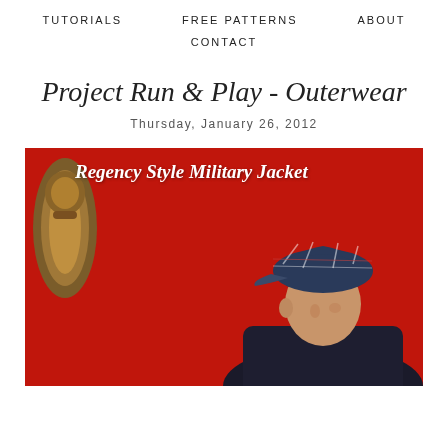TUTORIALS   FREE PATTERNS   ABOUT
CONTACT
Project Run & Play - Outerwear
Thursday, January 26, 2012
[Figure (photo): Blog post header image showing a boy wearing a plaid newsboy cap against a red background, with a brass door fixture on the left. Overlay text reads 'Regency Style Military Jacket' in white italic script.]